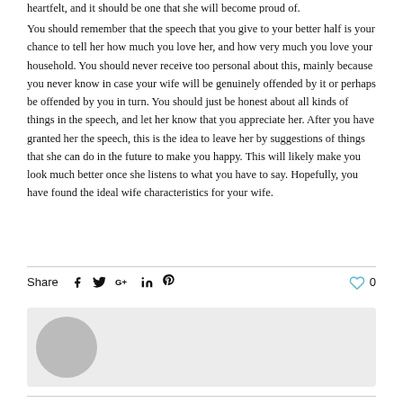heartfelt, and it should be one that she will become proud of.
You should remember that the speech that you give to your better half is your chance to tell her how much you love her, and how very much you love your household. You should never receive too personal about this, mainly because you never know in case your wife will be genuinely offended by it or perhaps be offended by you in turn. You should just be honest about all kinds of things in the speech, and let her know that you appreciate her. After you have granted her the speech, this is the idea to leave her by suggestions of things that she can do in the future to make you happy. This will likely make you look much better once she listens to what you have to say. Hopefully, you have found the ideal wife characteristics for your wife.
Share
[Figure (other): User avatar placeholder circle on grey background]